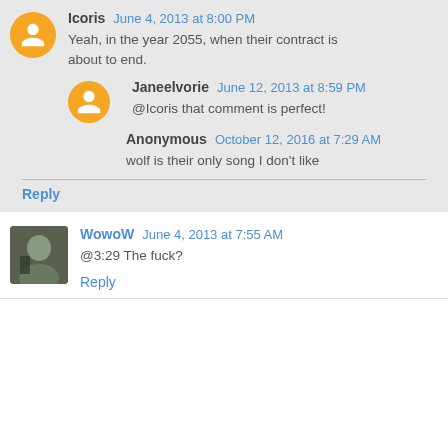Icoris June 4, 2013 at 8:00 PM — Yeah, in the year 2055, when their contract is about to end.
Janeelvorie June 12, 2013 at 8:59 PM — @Icoris that comment is perfect!
Anonymous October 12, 2016 at 7:29 AM — wolf is their only song I don't like
Reply
WowoW June 4, 2013 at 7:55 AM — @3:29 The fuck?
Reply